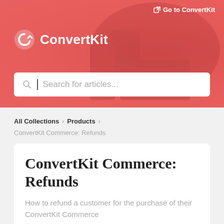[Figure (screenshot): ConvertKit help center header banner with coral/red background, silhouetted person in background, ConvertKit logo (circular arrow icon + text), and a search box reading 'Search for articles...']
Go to ConvertKit
All Collections > Products
ConvertKit Commerce: Refunds
ConvertKit Commerce: Refunds
How to refund a customer for the purchase of their ConvertKit Commerce product